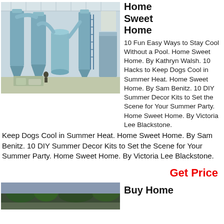[Figure (photo): Industrial blue grinding/milling equipment inside a factory]
Home Sweet Home
10 Fun Easy Ways to Stay Cool Without a Pool. Home Sweet Home. By Kathryn Walsh. 10 Hacks to Keep Dogs Cool in Summer Heat. Home Sweet Home. By Sam Benitz. 10 DIY Summer Decor Kits to Set the Scene for Your Summer Party. Home Sweet Home. By Victoria Lee Blackstone.
Get Price
[Figure (photo): Outdoor scene, partially visible at bottom of page]
Buy Home